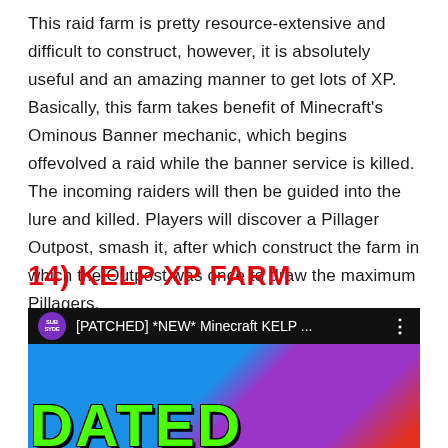This raid farm is pretty resource-extensive and difficult to construct, however, it is absolutely useful and an amazing manner to get lots of XP. Basically, this farm takes benefit of Minecraft's Ominous Banner mechanic, which begins offevolved a raid while the banner service is killed. The incoming raiders will then be guided into the lure and killed. Players will discover a Pillager Outpost, smash it, after which construct the farm in which the Outpost was once to draw the maximum Pillagers.
14) KELP XP FARM
[Figure (screenshot): YouTube video thumbnail and header showing a video titled '[PATCHED] *NEW* Minecraft KELP ...' from channel SUBSYDE. The header is black with the channel icon (purple circle with SUBSYDE text), video title in white, and three dots menu. Below is a colorful thumbnail with blue, purple, and dark red gradient background and large green bold text reading 'DATED' partially visible at the bottom.]